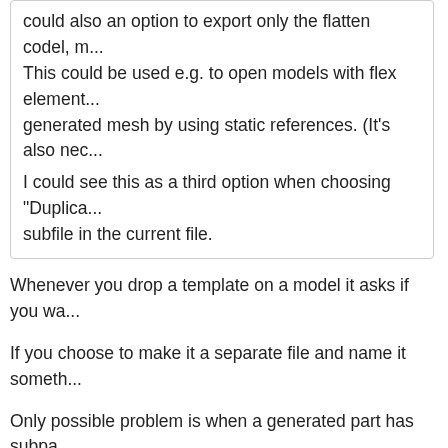could also an option to export only the flatten codel, m... This could be used e.g. to open models with flex elements... generated mesh by using static references. (It's also nec...
I could see this as a third option when choosing "Duplica... subfile in the current file.
Whenever you drop a template on a model it asks if you wa...
If you choose to make it a separate file and name it someth...
Only possible problem is when a generated part has subpa...
All LDCad meta's should be transparent to other tools as th...
That said, I'm planning to make some improvements to the...
I'll add an extra option to split generated content (with a wa...
Find
N. W. Perry